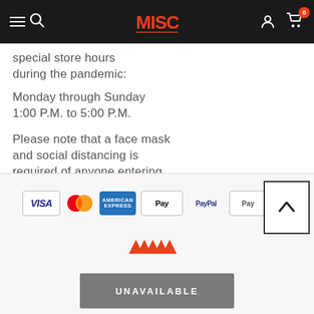MISC - navigation bar with hamburger menu, search, logo, account, and cart (0 items)
special store hours during the pandemic:

Monday through Sunday
1:00 P.M. to 5:00 P.M.

Please note that a face mask and social distancing is required of anyone entering our store.
[Figure (other): Payment method icons: Visa, Mastercard, American Express, Apple Pay, PayPal, Google Pay, and one partially visible blue card]
[Figure (logo): MISC store logo in orange/red stylized text]
UNAVAILABLE